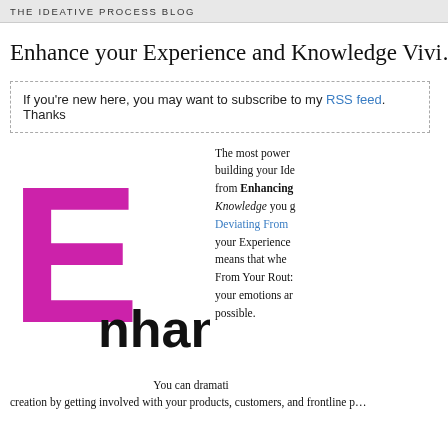THE IDEATIVE PROCESS BLOG
Enhance your Experience and Knowledge Vivi…
If you're new here, you may want to subscribe to my RSS feed. Thanks
[Figure (illustration): Large pink letter E with the word 'nhance' in black beside it, forming the word 'Enhance']
The most powerful… building your Ide… from Enhancing… Knowledge you… Deviating From… your Experience… means that when… From Your Rout… your emotions ar… possible.
You can dramati… creation by getting involved with your products, customers, and frontline p…